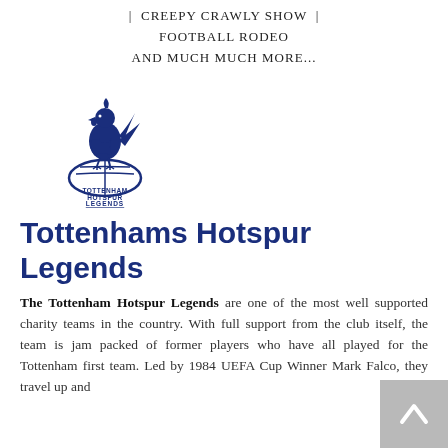| CREEPY CRAWLY SHOW | FOOTBALL RODEO
AND MUCH MUCH MORE...
[Figure (logo): Tottenham Hotspur Legends crest logo — a cockerel standing on a football, with the words TOTTENHAM HOTSPUR LEGENDS below in dark navy blue]
Tottenhams Hotspur Legends
The Tottenham Hotspur Legends are one of the most well supported charity teams in the country. With full support from the club itself, the team is jam packed of former players who have all played for the Tottenham first team. Led by 1984 UEFA Cup Winner Mark Falco, they travel up and